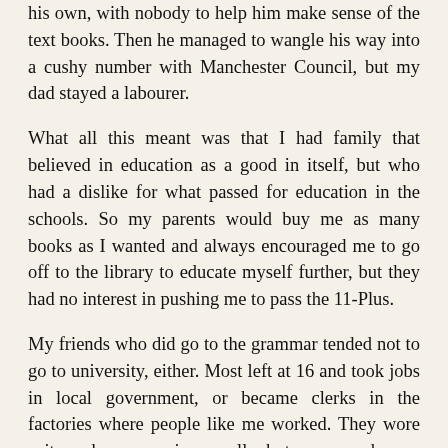his own, with nobody to help him make sense of the text books. Then he managed to wangle his way into a cushy number with Manchester Council, but my dad stayed a labourer.
What all this meant was that I had family that believed in education as a good in itself, but who had a dislike for what passed for education in the schools. So my parents would buy me as many books as I wanted and always encouraged me to go off to the library to educate myself further, but they had no interest in pushing me to pass the 11-Plus.
My friends who did go to the grammar tended not to go to university, either. Most left at 16 and took jobs in local government, or became clerks in the factories where people like me worked. They wore suits and we were in overalls, but we earned more money than them, especially with overtime, because of our strong unions and the magic of time and a half.
I really think that the only people who gave a stuff about the abolition of the grammar schools were those members of the